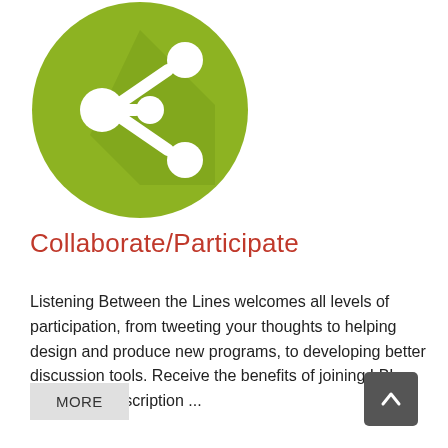[Figure (illustration): Green circle icon with white share/network node symbol and dark green shadow effect]
Collaborate/Participate
Listening Between the Lines welcomes all levels of participation, from tweeting your thoughts to helping design and produce new programs, to developing better discussion tools. Receive the benefits of joining LBL, from free subscription ...